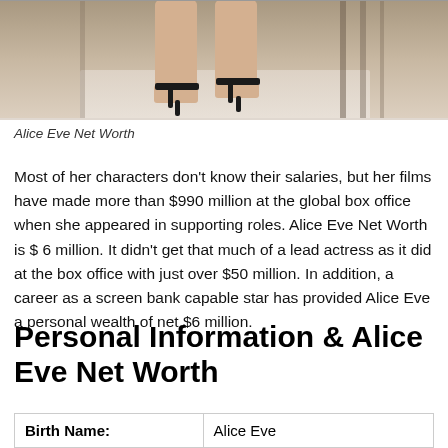[Figure (photo): Partial photo showing legs/feet of a woman wearing black high-heel sandals, cropped at the top of the page]
Alice Eve Net Worth
Most of her characters don't know their salaries, but her films have made more than $990 million at the global box office when she appeared in supporting roles. Alice Eve Net Worth is $ 6 million. It didn't get that much of a lead actress as it did at the box office with just over $50 million. In addition, a career as a screen bank capable star has provided Alice Eve a personal wealth of net $6 million.
Personal Information & Alice Eve Net Worth
| Birth Name: |  |
| --- | --- |
| Birth Name: | Alice Eve |